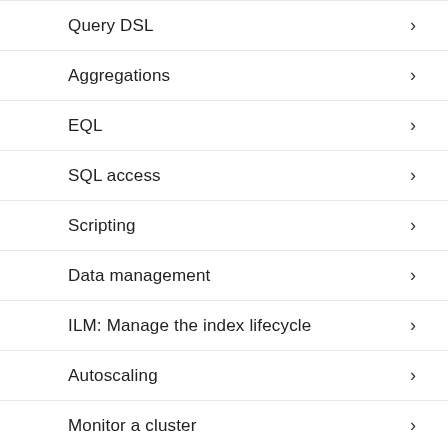Query DSL
Aggregations
EQL
SQL access
Scripting
Data management
ILM: Manage the index lifecycle
Autoscaling
Monitor a cluster
Frozen indices